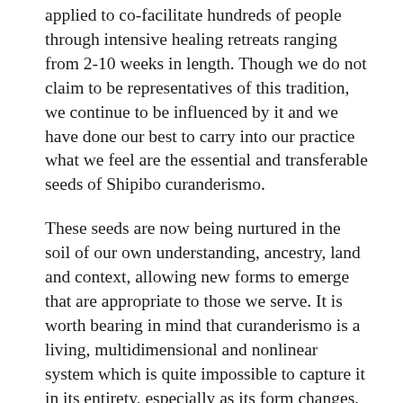applied to co-facilitate hundreds of people through intensive healing retreats ranging from 2-10 weeks in length. Though we do not claim to be representatives of this tradition, we continue to be influenced by it and we have done our best to carry into our practice what we feel are the essential and transferable seeds of Shipibo curanderismo.
These seeds are now being nurtured in the soil of our own understanding, ancestry, land and context, allowing new forms to emerge that are appropriate to those we serve. It is worth bearing in mind that curanderismo is a living, multidimensional and nonlinear system which is quite impossible to capture it in its entirety, especially as its form changes, sometimes quite significantly between lineages, or even between practitioners within the same lineage. Here we only attempt to give you a snapshot of some of its elements.